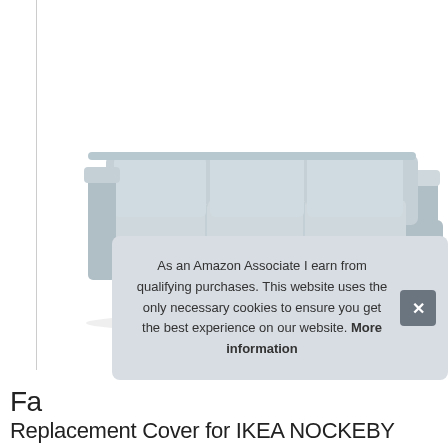[Figure (photo): A light grey sectional sofa with chaise lounge, three seat cushions, squared arms, and silver metallic legs, on a white background.]
As an Amazon Associate I earn from qualifying purchases. This website uses the only necessary cookies to ensure you get the best experience on our website. More information
Fa
Replacement Cover for IKEA NOCKEBY